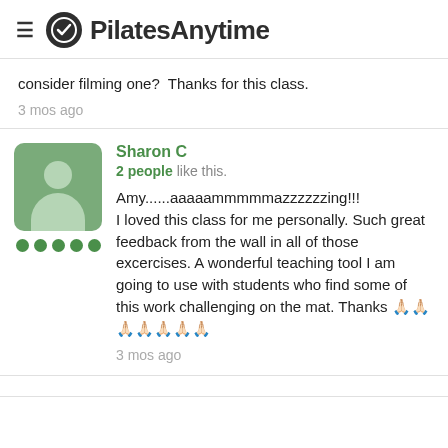PilatesAnytime
consider filming one?  Thanks for this class.
3 mos ago
Sharon C
2 people like this.
Amy......aaaaammmmmazzzzzzing!!!
I loved this class for me personally. Such great feedback from the wall in all of those excercises. A wonderful teaching tool I am going to use with students who find some of this work challenging on the mat. Thanks 🙏🏻🙏🏻🙏🏻🙏🏻🙏🏻🙏🏻🙏🏻
3 mos ago